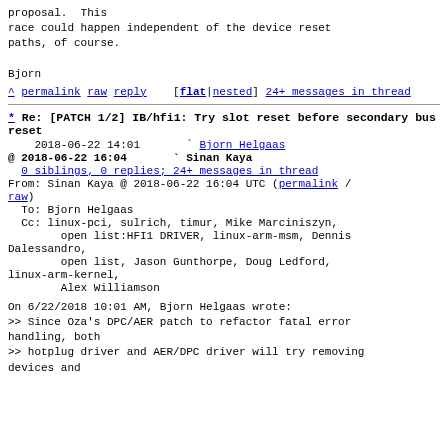proposal.  This
race could happen independent of the device reset
paths, of course.

Bjorn
^ permalink raw reply    [flat|nested] 24+ messages in thread
* Re: [PATCH 1/2] IB/hfi1: Try slot reset before secondary bus reset
2018-06-22 14:01       ` Bjorn Helgaas
@ 2018-06-22 16:04       ` Sinan Kaya
  0 siblings, 0 replies; 24+ messages in thread
From: Sinan Kaya @ 2018-06-22 16:04 UTC (permalink / raw)
  To: Bjorn Helgaas
  Cc: linux-pci, sulrich, timur, Mike Marciniszyn,
        open list:HFI1 DRIVER, linux-arm-msm, Dennis Dalessandro,
        open list, Jason Gunthorpe, Doug Ledford, linux-arm-kernel,
        Alex Williamson
On 6/22/2018 10:01 AM, Bjorn Helgaas wrote:
>> Since Oza's DPC/AER patch to refactor fatal error handling, both
>> hotplug driver and AER/DPC driver will try removing devices and